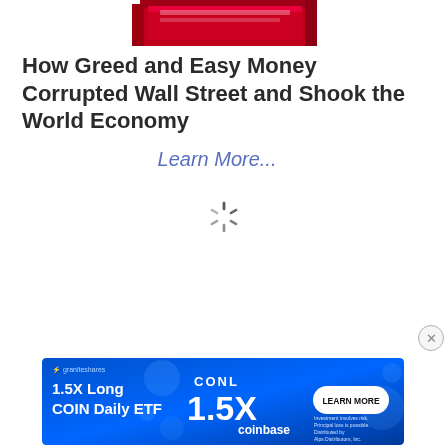[Figure (illustration): Top portion of a red book cover, partially cropped]
How Greed and Easy Money Corrupted Wall Street and Shook the World Economy
Learn More...
[Figure (other): Spinning loading indicator (spinner/throbber)]
[Figure (infographic): Advertisement banner: GraniteShares - CONL 1.5X Long COIN Daily ETF - 1.5X - coinbase - LEARN MORE button. Text: Investment involves risk. Principal loss is possible. Distributed by Alps Distributors, Inc.]